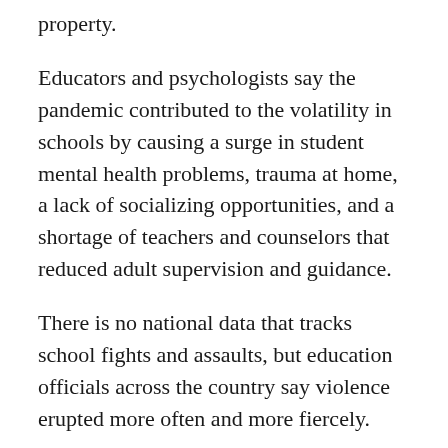property.
Educators and psychologists say the pandemic contributed to the volatility in schools by causing a surge in student mental health problems, trauma at home, a lack of socializing opportunities, and a shortage of teachers and counselors that reduced adult supervision and guidance.
There is no national data that tracks school fights and assaults, but education officials across the country say violence erupted more often and more fiercely.
“Without doubt, we are hearing across the board that schools are experiencing significantly more crises related to school violence and emotional behavioral crises,” said Sharon Hoover, co-director of the